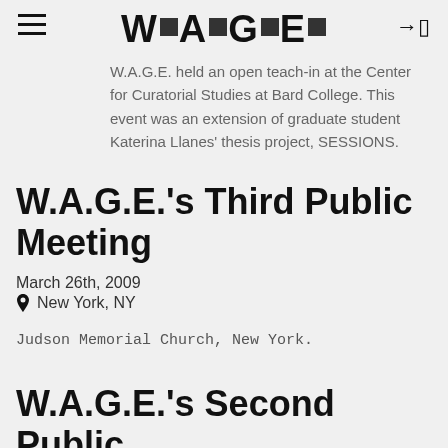W.A.G.E. [logo with squares]
W.A.G.E. held an open teach-in at the Center for Curatorial Studies at Bard College. This event was an extension of graduate student Katerina Llanes' thesis project, SESSIONS.
W.A.G.E.'s Third Public Meeting
March 26th, 2009
New York, NY
Judson Memorial Church, New York.
W.A.G.E.'s Second Public